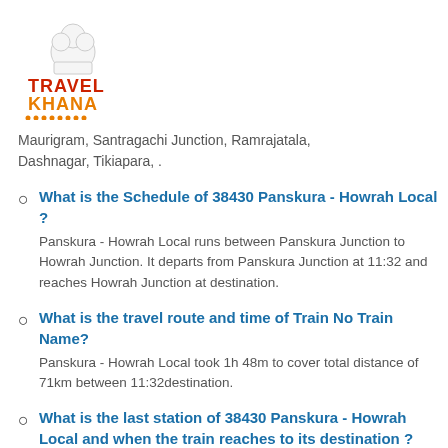[Figure (logo): TravelKhana logo with chef hat icon, TRAVEL in red, KHANA in orange, decorative dots below]
Maurigram, Santragachi Junction, Ramrajatala, Dashnagar, Tikiapara, .
What is the Schedule of 38430 Panskura - Howrah Local ?
Panskura - Howrah Local runs between Panskura Junction to Howrah Junction. It departs from Panskura Junction at 11:32 and reaches Howrah Junction at destination.
What is the travel route and time of Train No Train Name?
Panskura - Howrah Local took 1h 48m to cover total distance of 71km between 11:32destination.
What is the last station of 38430 Panskura - Howrah Local and when the train reaches to its destination ?
Its reaches destination at 13:20 which is the last station of its journey.